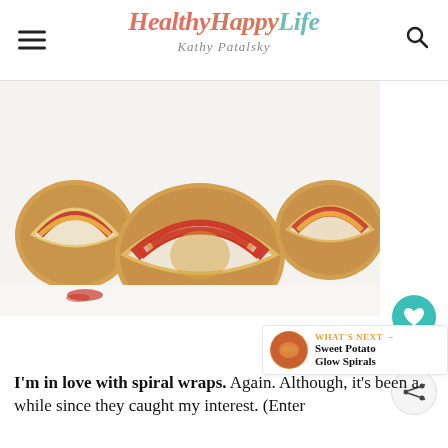Healthy Happy Life - Kathy Patalsky
[Figure (photo): Close-up photo of spiral wrap/pinwheel sandwiches cut to show cross-section, with red peppers and cream filling, on a white surface]
WHAT'S NEXT → Sweet Potato Glow Spirals
I'm in love with spiral wraps. Again. Although, it's been a while since they caught my interest. (Enter